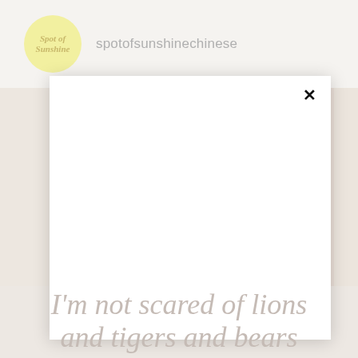spotofsunshineshinechinese
[Figure (screenshot): A white modal dialog box with a close (×) button in the top right corner, overlaying a blurred background]
I'm not scared of lions and tigers and bears